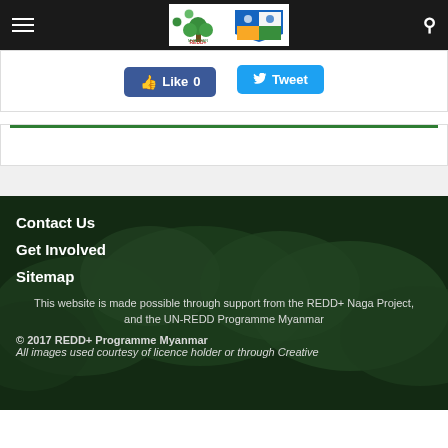REDD+ Myanmar header navigation bar with logo
[Figure (logo): REDD+ Myanmar logo and partner organization crest in the center of the navigation bar]
Like 0   Tweet
[Figure (screenshot): Green horizontal divider line on white background]
Contact Us
Get Involved
Sitemap
This website is made possible through support from the REDD+ Naga Project, and the UN-REDD Programme Myanmar
© 2017 REDD+ Programme Myanmar
All images used courtesy of licence holder or through Creative